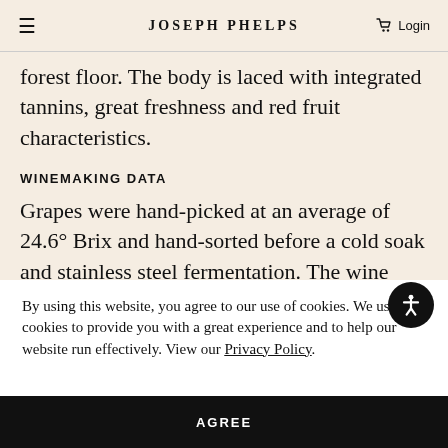JOSEPH PHELPS  Login
aromatics of plum, bacon, coffee, and hints of allspice, fresh thyme, tobacco and forest floor. The body is laced with integrated tannins, great freshness and red fruit characteristics.
WINEMAKING DATA
Grapes were hand-picked at an average of 24.6° Brix and hand-sorted before a cold soak and stainless steel fermentation. The wine was aged for eighteen months in 52% new oak barrels (58%
By using this website, you agree to our use of cookies. We use cookies to provide you with a great experience and to help our website run effectively. View our Privacy Policy.
AGREE